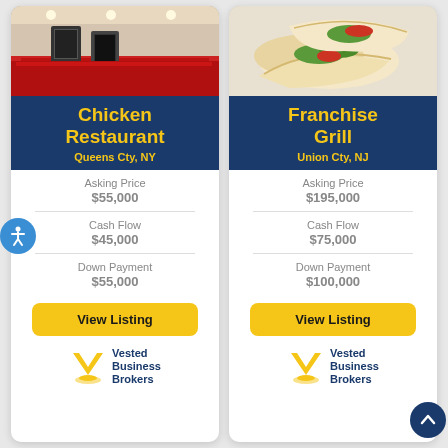[Figure (photo): Interior of a chicken restaurant with ordering kiosk machines]
Chicken Restaurant
Queens Cty, NY
Asking Price
$55,000
Cash Flow
$45,000
Down Payment
$55,000
View Listing
[Figure (logo): Vested Business Brokers logo with yellow V shape and navy text]
[Figure (photo): Close-up of two wrapped burritos or wraps with fresh vegetables]
Franchise Grill
Union Cty, NJ
Asking Price
$195,000
Cash Flow
$75,000
Down Payment
$100,000
View Listing
[Figure (logo): Vested Business Brokers logo with yellow V shape and navy text]